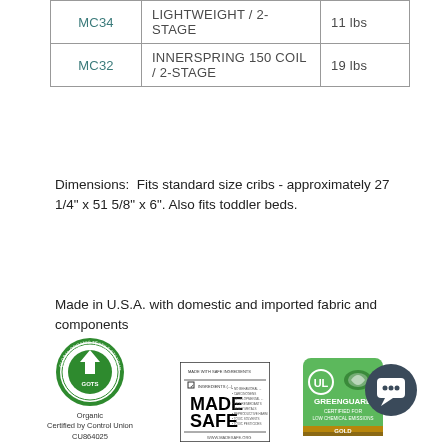|  |  |  |
| --- | --- | --- |
| MC34 | LIGHTWEIGHT / 2-STAGE | 11 lbs |
| MC32 | INNERSPRING 150 COIL / 2-STAGE | 19 lbs |
Dimensions:  Fits standard size cribs - approximately 27 1/4" x 51 5/8" x 6". Also fits toddler beds.
Made in U.S.A. with domestic and imported fabric and components
[Figure (logo): GOTS (Global Organic Textile Standard) circular logo with upward arrow, green color. Text: Organic, Certified by Control Union, CU864025]
[Figure (logo): MADE SAFE certification logo in black and white, rectangular label format]
[Figure (logo): GREENGUARD Gold certification logo in green, with UL symbol, plus dark circular chat icon overlay]